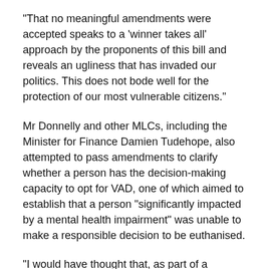“That no meaningful amendments were accepted speaks to a ‘winner takes all’ approach by the proponents of this bill and reveals an ugliness that has invaded our politics. This does not bode well for the protection of our most vulnerable citizens.”
Mr Donnelly and other MLCs, including the Minister for Finance Damien Tudehope, also attempted to pass amendments to clarify whether a person has the decision-making capacity to opt for VAD, one of which aimed to establish that a person “significantly impacted by a mental health impairment” was unable to make a responsible decision to be euthanised.
“I would have thought that, as part of a responsible legislature, this was a self-evident provision,” Mr Tudehope said.